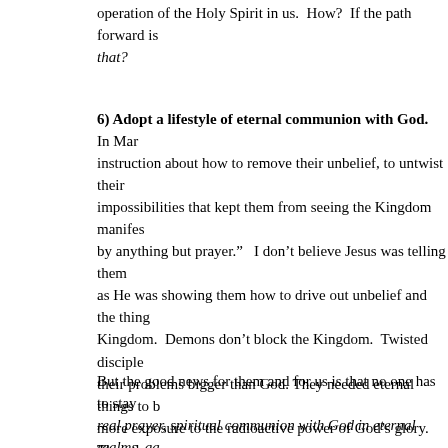operation of the Holy Spirit in us.  How?  If the path forward is... that?
6) Adopt a lifestyle of eternal communion with God.  In Mark... instruction about how to remove their unbelief, to untwist their... impossibilities that kept them from seeing the Kingdom manifes... by anything but prayer.”   I don’t believe Jesus was telling them... as He was showing them how to drive out unbelief and the thing... Kingdom.  Demons don’t block the Kingdom.  Twisted disciple... their problems bigger than God. They needed eternal things to b... more exposure to the radioactive power of God’s glory. Then th... work through them to the degree that this situation required unti... didn’t need “more of God”, but God needed more of them. He n... their hearts and minds.  These guys were all twisted up, doubtfu...
But the good news for them and for us is that no one has to stay... real prayer, spiritual communion with God in eternal realms, ga... His Word, being absorbed with His heart.  Wasn’t this the sourc... nothing apart from the Father.” “The Son can only do what I hea...